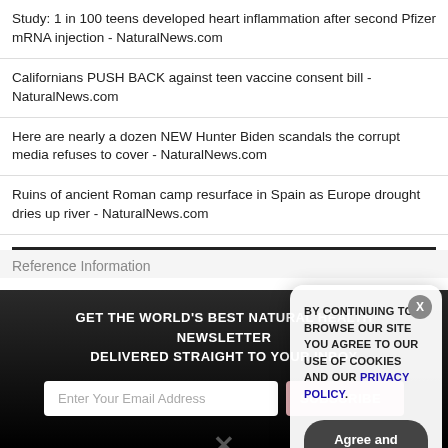Study: 1 in 100 teens developed heart inflammation after second Pfizer mRNA injection - NaturalNews.com
Californians PUSH BACK against teen vaccine consent bill - NaturalNews.com
Here are nearly a dozen NEW Hunter Biden scandals the corrupt media refuses to cover - NaturalNews.com
Ruins of ancient Roman camp resurface in Spain as Europe drought dries up river - NaturalNews.com
Reference Information
GET THE WORLD'S BEST NATURAL HEALTH NEWSLETTER DELIVERED STRAIGHT TO YOUR INBOX
Enter Your Email Address
SUBSCRIBE
[Figure (screenshot): Cookie consent modal dialog with text: BY CONTINUING TO BROWSE OUR SITE YOU AGREE TO OUR USE OF COOKIES AND OUR PRIVACY POLICY. with an Agree and close button and an X close button.]